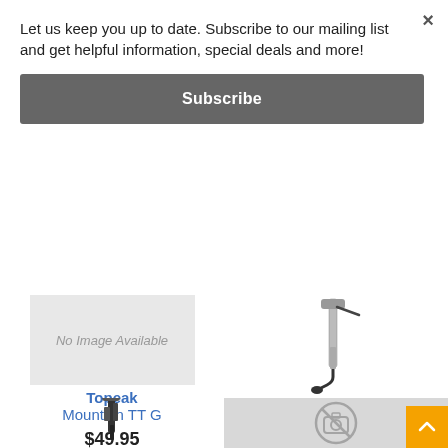Let us keep you up to date. Subscribe to our mailing list and get helpful information, special deals and more!
Subscribe
×
[Figure (photo): No Image Available placeholder box]
[Figure (photo): Topeak Road Morph G pump product photo showing metal pump with foldable foot and hose]
Topeak
Mountain TT G
$49.95
Topeak
Road Morph G
$54.99
[Figure (other): 4-star rating with 4 orange star boxes]
4 Reviews
[Figure (photo): Topeak pump product image showing black pump with fittings]
[Figure (other): No image / camera crossed-out icon placeholder on grey background]
[Figure (other): Orange scroll-to-top button with upward chevron arrow]